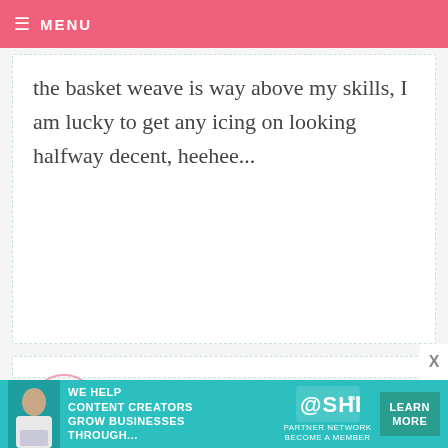MENU
the basket weave is way above my skills, I am lucky to get any icing on looking halfway decent, heehee...
DANA — JANUARY 4, 2009 @ 1:40 PM  REPLY
I just recently took the Wilton 1 cake decorating class. Whew...Couldn't make a rose because my buttercream was never the right consistantcy! How frustrating! I think basketweave is in the next class. Not dreading it too much...
[Figure (infographic): SHE Partner Network advertisement banner with teal background, woman with laptop photo, and Learn More button]